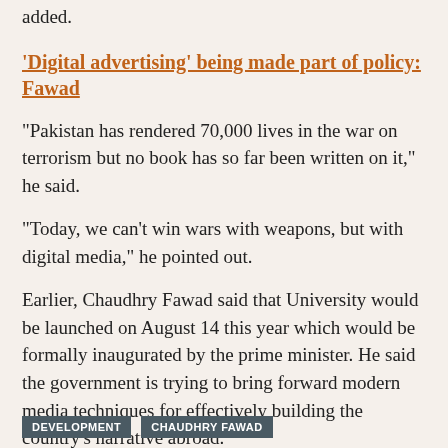added.
'Digital advertising' being made part of policy: Fawad
“Pakistan has rendered 70,000 lives in the war on terrorism but no book has so far been written on it,” he said.
“Today, we can’t win wars with weapons, but with digital media,” he pointed out.
Earlier, Chaudhry Fawad said that University would be launched on August 14 this year which would be formally inaugurated by the prime minister. He said the government is trying to bring forward modern media techniques for effectively building the country's narrative abroad.
DEVELOPMENT   CHAUDHRY FAWAD